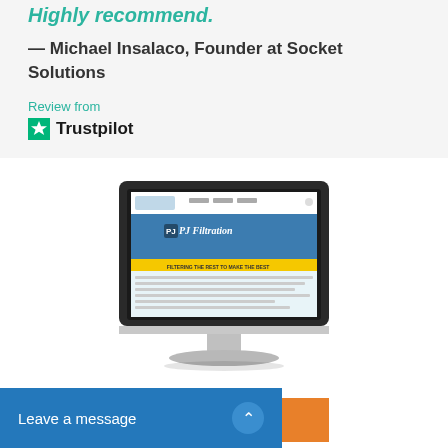Highly recommend.
— Michael Insalaco, Founder at Socket Solutions
Review from
[Figure (logo): Trustpilot logo with green star and bold text 'Trustpilot']
[Figure (screenshot): Desktop computer monitor displaying a website for PJ Filtration with a blue header, industrial imagery, and a yellow banner reading 'Filtering the rest to make the best']
VIEW WEBSITE
Leave a message